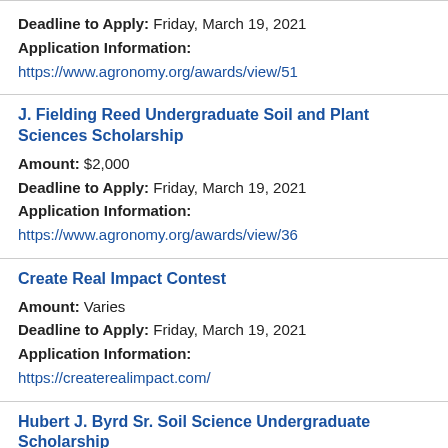Deadline to Apply: Friday, March 19, 2021
Application Information:
https://www.agronomy.org/awards/view/51
J. Fielding Reed Undergraduate Soil and Plant Sciences Scholarship
Amount: $2,000
Deadline to Apply: Friday, March 19, 2021
Application Information:
https://www.agronomy.org/awards/view/36
Create Real Impact Contest
Amount: Varies
Deadline to Apply: Friday, March 19, 2021
Application Information:
https://createrealimpact.com/
Hubert J. Byrd Sr. Soil Science Undergraduate Scholarship
Amount: $2,500